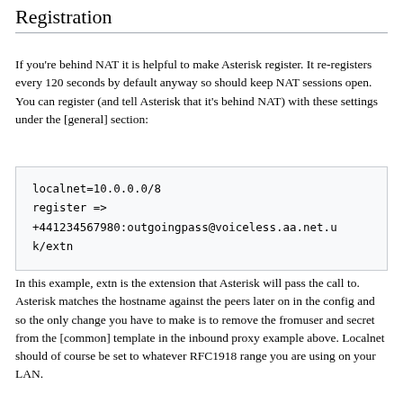Registration
If you're behind NAT it is helpful to make Asterisk register. It re-registers every 120 seconds by default anyway so should keep NAT sessions open. You can register (and tell Asterisk that it's behind NAT) with these settings under the [general] section:
localnet=10.0.0.0/8
register =>
+441234567980:outgoingpass@voiceless.aa.net.uk/extn
In this example, extn is the extension that Asterisk will pass the call to. Asterisk matches the hostname against the peers later on in the config and so the only change you have to make is to remove the fromuser and secret from the [common] template in the inbound proxy example above. Localnet should of course be set to whatever RFC1918 range you are using on your LAN.